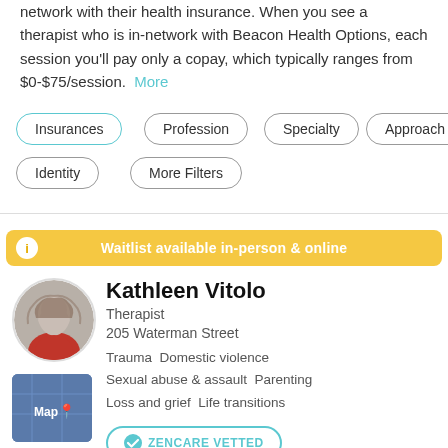network with their health insurance. When you see a therapist who is in-network with Beacon Health Options, each session you'll pay only a copay, which typically ranges from $0-$75/session. More
Insurances
Profession
Specialty
Approach
Identity
More Filters
Waitlist available in-person & online
Kathleen Vitolo
Therapist
205 Waterman Street
Trauma  Domestic violence
Sexual abuse & assault  Parenting
Loss and grief  Life transitions
ZENCARE VETTED